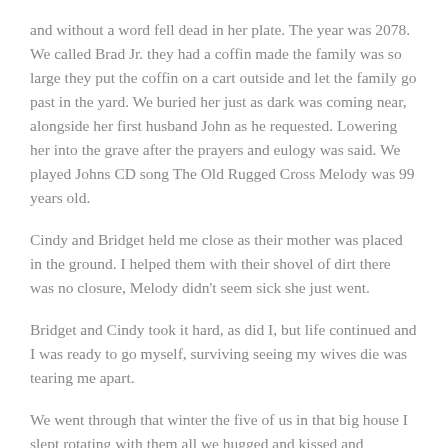and without a word fell dead in her plate. The year was 2078. We called Brad Jr. they had a coffin made the family was so large they put the coffin on a cart outside and let the family go past in the yard. We buried her just as dark was coming near, alongside her first husband John as he requested. Lowering her into the grave after the prayers and eulogy was said. We played Johns CD song The Old Rugged Cross Melody was 99 years old.
Cindy and Bridget held me close as their mother was placed in the ground. I helped them with their shovel of dirt there was no closure, Melody didn't seem sick she just went.
Bridget and Cindy took it hard, as did I, but life continued and I was ready to go myself, surviving seeing my wives die was tearing me apart.
We went through that winter the five of us in that big house I slept rotating with them all we hugged and kissed and watched the snow fall we went to the different halls to eat